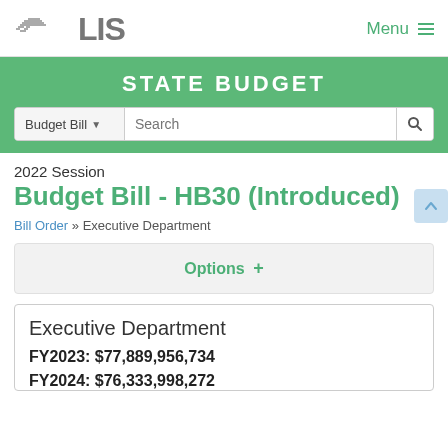LIS — Menu
STATE BUDGET
Budget Bill ▼  Search
2022 Session
Budget Bill - HB30 (Introduced)
Bill Order » Executive Department
Options +
Executive Department
FY2023: $77,889,956,734
FY2024: $76,333,998,272